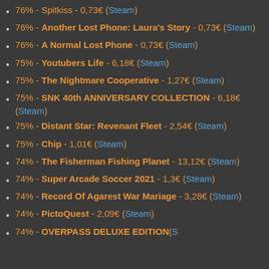76% - Spitkiss - 0,73€ (Steam)
76% - Another Lost Phone: Laura's Story - 0,73€ (Steam)
76% - A Normal Lost Phone - 0,73€ (Steam)
75% - Youtubers Life - 6,18€ (Steam)
75% - The Nightmare Cooperative - 1,27€ (Steam)
75% - SNK 40th ANNIVERSARY COLLECTION - 6,18€ (Steam)
75% - Distant Star: Revenant Fleet - 2,54€ (Steam)
75% - Chip - 1,01€ (Steam)
74% - The Fisherman Fishing Planet - 13,12€ (Steam)
74% - Super Arcade Soccer 2021 - 1,3€ (Steam)
74% - Record Of Agarest War Mariage - 3,28€ (Steam)
74% - PictoQuest - 2,09€ (Steam)
74% - OVERPASS DELUXE EDITION (Steam)